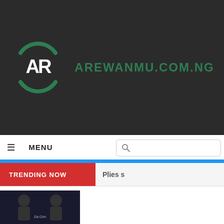[Figure (logo): Arewanmu.com.ng website logo — dark background with green circular arc icon containing white 'AR' letters and green site name text]
≡  MENU
[Figure (other): Search box with magnifying glass icon]
TRENDING NOW
Plies s
[Figure (photo): Partial article thumbnail image showing people]